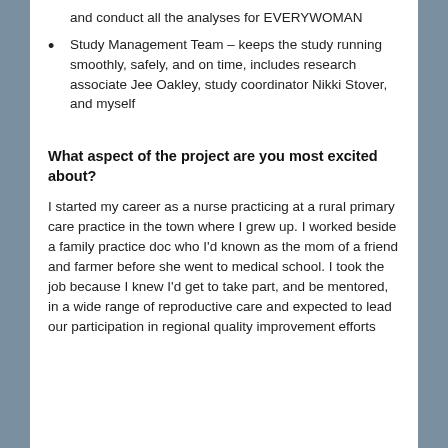and conduct all the analyses for EVERYWOMAN
Study Management Team – keeps the study running smoothly, safely, and on time, includes research associate Jee Oakley, study coordinator Nikki Stover, and myself
What aspect of the project are you most excited about?
I started my career as a nurse practicing at a rural primary care practice in the town where I grew up. I worked beside a family practice doc who I'd known as the mom of a friend and farmer before she went to medical school. I took the job because I knew I'd get to take part, and be mentored, in a wide range of reproductive care and expected to lead our participation in regional quality improvement efforts and to conduct the analyses for the project.